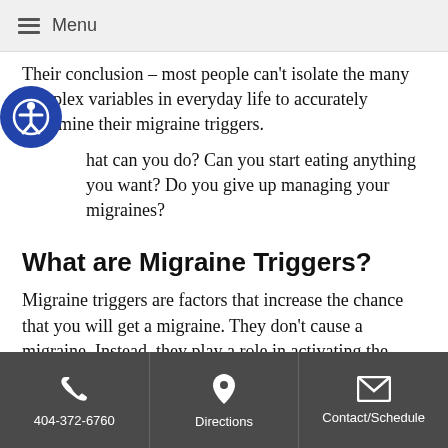Menu
Their conclusion – most people can't isolate the many complex variables in everyday life to accurately determine their migraine triggers.
What can you do?  Can you start eating anything you want?  Do you give up managing your migraines?
What are Migraine Triggers?
Migraine triggers are factors that increase the chance that you will get a migraine.  They don't cause a migraine.  Instead, they play a role in activating the process that leads to a migraine.
Not every trigger causes a migraine for every person
404-372-6760   Directions   Contact/Schedule